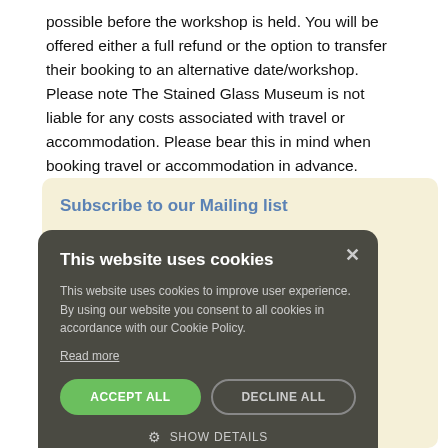possible before the workshop is held. You will be offered either a full refund or the option to transfer their booking to an alternative date/workshop. Please note The Stained Glass Museum is not liable for any costs associated with travel or accommodation. Please bear this in mind when booking travel or accommodation in advance.
Subscribe to our Mailing list
[Figure (screenshot): Cookie consent modal dialog with dark background showing 'This website uses cookies' title, explanatory text, Read more link, ACCEPT ALL and DECLINE ALL buttons, and SHOW DETAILS option with gear icon.]